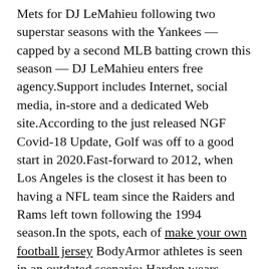Mets for DJ LeMahieu following two superstar seasons with the Yankees — capped by a second MLB batting crown this season — DJ LeMahieu enters free agency.Support includes Internet, social media, in-store and a dedicated Web site.According to the just released NGF Covid-18 Update, Golf was off to a good start in 2020.Fast-forward to 2012, when Los Angeles is the closest it has been to having a NFL team since the Raiders and Rams left town following the 1994 season.In the spots, each of make your own football jersey BodyArmor athletes is seen in an outdated scenario: Harden wears Revolutionary War clothing into a basketball arena instead of a current outfit, Trout exercises with obsolete rather than modern workout machines, Diggins-Smith is seen leading an out-of-style jazzercise class and wearing vintage apparel and Porzingas keeps in touch with his parents via carrier pigeon.